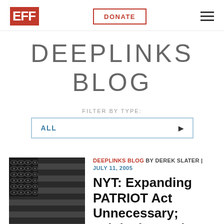EFF  DONATE  ≡
DEEPLINKS BLOG
FILTER BY TYPE:
ALL
[Figure (illustration): Dark gray and black stylized American flag with eye symbols on the canton stars field, horizontal stripes alternating dark gray and black]
DEEPLINKS BLOG BY DEREK SLATER | JULY 11, 2005
NYT: Expanding PATRIOT Act Unnecessary; Original Is Bad Enough